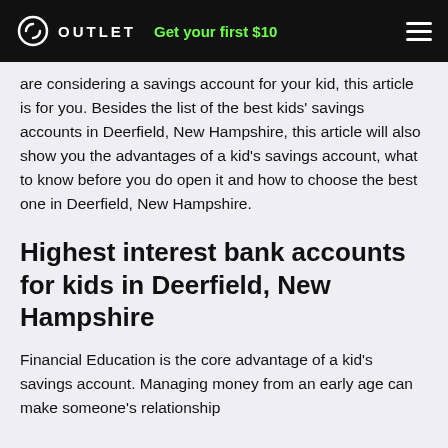OUTLET | Get your first $10
are considering a savings account for your kid, this article is for you. Besides the list of the best kids' savings accounts in Deerfield, New Hampshire, this article will also show you the advantages of a kid's savings account, what to know before you do open it and how to choose the best one in Deerfield, New Hampshire.
Highest interest bank accounts for kids in Deerfield, New Hampshire
Financial Education is the core advantage of a kid's savings account. Managing money from an early age can make someone's relationship